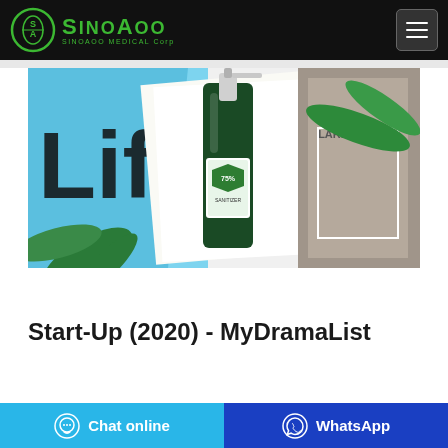[Figure (logo): SinoAoo Medical Corp logo - green circle with SA initials and green text]
[Figure (photo): Green pump bottle spray dispenser product placed on magazines/books with palm leaves, white background. Bottle has Japanese text and green shield label. Magazines show text 'Life', 'SINGU-LARITY', 'MORNING ROUTINE'.]
Start-Up (2020) - MyDramaList
[Figure (infographic): Two bottom buttons: cyan 'Chat online' button with chat icon on left, blue 'WhatsApp' button with WhatsApp icon on right]